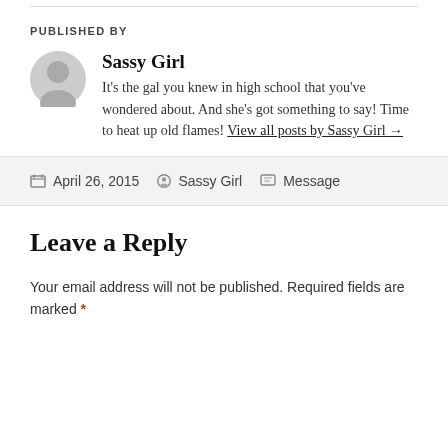PUBLISHED BY
Sassy Girl
It's the gal you knew in high school that you've wondered about. And she's got something to say! Time to heat up old flames! View all posts by Sassy Girl →
April 26, 2015  Sassy Girl  Message
Leave a Reply
Your email address will not be published. Required fields are marked *